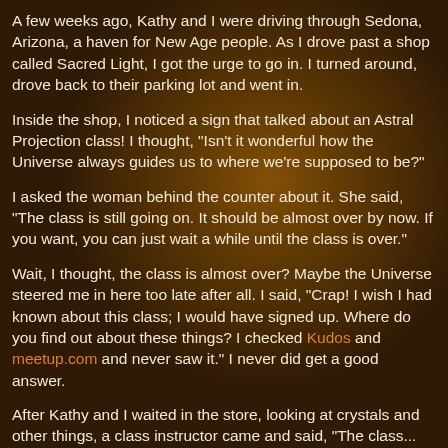A few weeks ago, Kathy and I were driving through Sedona, Arizona, a haven for New Age people. As I drove past a shop called Sacred Light, I got the urge to go in. I turned around, drove back to their parking lot and went in.
Inside the shop, I noticed a sign that talked about an Astral Projection class! I thought, "Isn't it wonderful how the Universe always guides us to where we're supposed to be?"
I asked the woman behind the counter about it. She said, "The class is still going on. It should be almost over by now. If you want, you can just wait a while until the class is over."
Wait, I thought, the class is almost over? Maybe the Universe steered me in here too late after all. I said, "Crap! I wish I had known about this class; I would have signed up. Where do you find out about these things? I checked Kudos and meetup.com and never saw it." I never did get a good answer.
After Kathy and I waited in the store, looking at crystals and other things, a class instructor came and said, "The class...